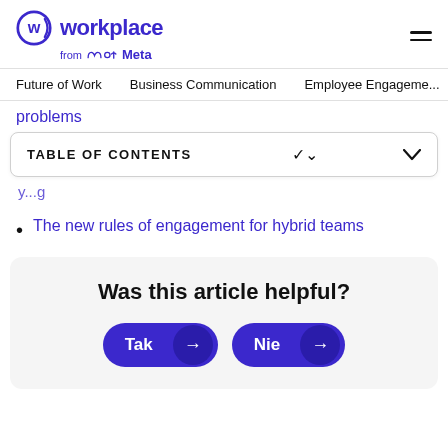Workplace from Meta
Future of Work   Business Communication   Employee Engagement
problems
TABLE OF CONTENTS
The new rules of engagement for hybrid teams
Was this article helpful?
Tak  Nie